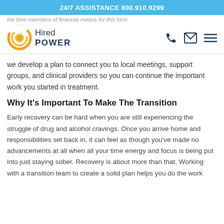24/7 ASSISTANCE 800.910.9299
the time members of financial means for this form
[Figure (logo): Hired Power logo with circular orange/yellow sun graphic and dark blue text]
we develop a plan to connect you to local meetings, support groups, and clinical providers so you can continue the important work you started in treatment.
Why It's Important To Make The Transition
Early recovery can be hard when you are still experiencing the struggle of drug and alcohol cravings. Once you arrive home and responsibilities set back in, it can feel as though you've made no advancements at all when all your time energy and focus is being put into just staying sober. Recovery is about more than that. Working with a transition team to create a solid plan helps you do the work